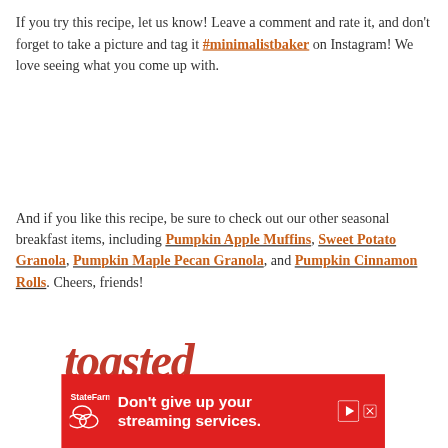If you try this recipe, let us know! Leave a comment and rate it, and don't forget to take a picture and tag it #minimalistbaker on Instagram! We love seeing what you come up with.
And if you like this recipe, be sure to check out our other seasonal breakfast items, including Pumpkin Apple Muffins, Sweet Potato Granola, Pumpkin Maple Pecan Granola, and Pumpkin Cinnamon Rolls. Cheers, friends!
[Figure (logo): Toasted logo in red cursive/script font]
[Figure (screenshot): State Farm advertisement banner: 'Don't give up your streaming services.' on red background with State Farm logo]